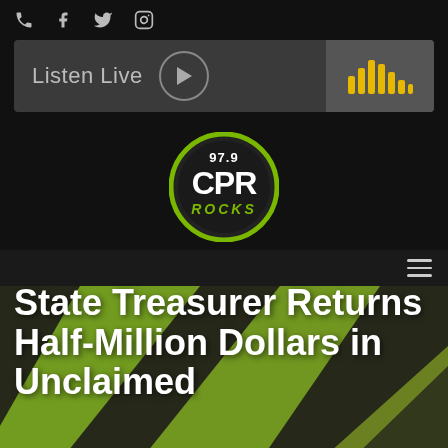Social/Nav icons: phone, facebook, twitter, instagram
[Figure (screenshot): Listen Live bar with play button and audio waveform icon]
[Figure (logo): 97.9 CPR ROCKS radio station logo — circular badge with green accent]
[Figure (infographic): Hamburger menu icon (three horizontal lines)]
[Figure (illustration): Hero background with green and dark diagonal swoosh/stripe pattern]
State Treasurer Returns Half-Million Dollars in Unclaimed